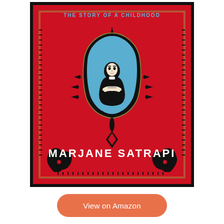[Figure (illustration): Book cover of Persepolis by Marjane Satrapi. Red cover with black decorative border. Title text 'THE STORY OF A CHILDHOOD' at top in blue. Central ornate Persian-style medallion frame in black with blue interior containing a girl in black chador with arms crossed. Decorative black floral/leaf motifs around medallion and bottom. Author name 'MARJANE SATRAPI' in large white letters near bottom.]
View on Amazon